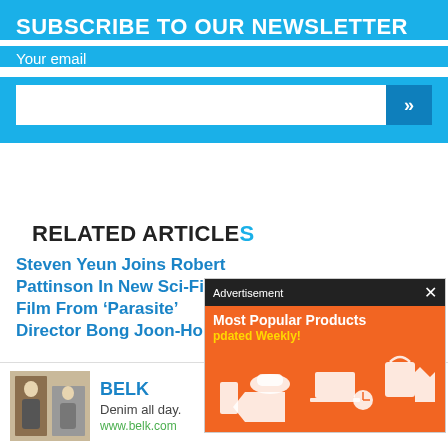SUBSCRIBE TO OUR NEWSLETTER
Your email
[Figure (screenshot): Advertisement popup over orange background showing 'Most Popular Products' and 'odated Weekly!' text with illustrated product icons on orange background with a black header bar reading 'Advertisement' and an X close button]
RELATED ARTICLES
Steven Yeun Joins Robert Pattinson In New Sci-Fi Film From ‘Parasite’ Director Bong Joon-Ho
[Figure (screenshot): Bottom advertisement banner for BELK showing fashion image on left, BELK brand name, 'Denim all day.' text, www.belk.com URL, and a blue circular arrow button on the right]